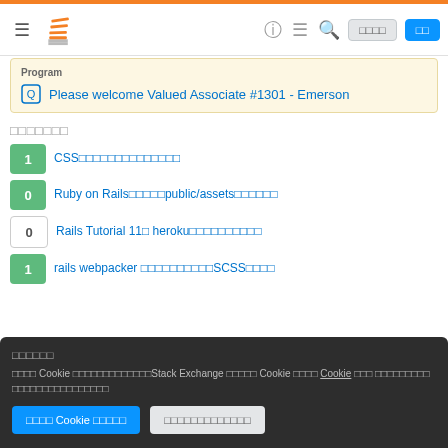Stack Overflow navigation bar with logo, search, login buttons
Program
Please welcome Valued Associate #1301 - Emerson
□□□□□□□
1 | CSS□□□□□□□□□□□□□□
0 | Ruby on Rails□□□□□public/assets□□□□□□
0 | Rails Tutorial 11□ heroku□□□□□□□□□□
1 | rails webpacker □□□□□□□□□□SCSS□□□□
□□□□□□
□□□□ Cookie □□□□□□□□□□□□□Stack Exchange □□□□□ Cookie □□□□ Cookie □□□ □□□□□□□□□ □□□□□□□□□□□□□□□□
□□□□ Cookie □□□□□ | □□□□□□□□□□□□□